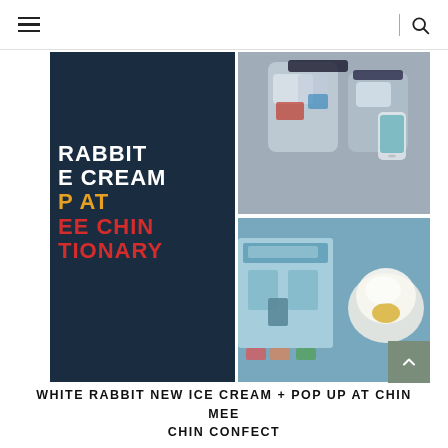☰ | 🔍
[Figure (photo): Composite promotional image for White Rabbit New Ice Cream Pop Up at Chin Mee Chin Confectionery. Left panel: dark navy background with bold text 'RABBIT ICE CREAM POP AT MEE CHIN CONFECTIONARY' in white, orange, and red. Right top panel: blurred photo of ice cream cups. Right bottom panel: photo of a shop storefront and cream-colored dessert.]
WHITE RABBIT NEW ICE CREAM + POP UP AT CHIN MEE CHIN CONFECT